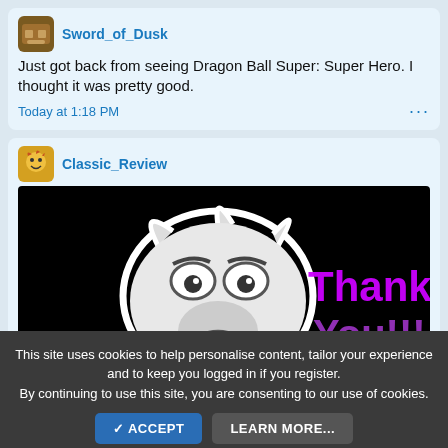Sword_of_Dusk
Just got back from seeing Dragon Ball Super: Super Hero. I thought it was pretty good.
Today at 1:18 PM
Classic_Review
[Figure (screenshot): Image showing a stylized black and white cartoon character face (resembling Sonic the Hedgehog) on a black background with purple glowing text reading 'Thank You!!!']
Today at 8:46 AM
This site uses cookies to help personalise content, tailor your experience and to keep you logged in if you register. By continuing to use this site, you are consenting to our use of cookies.
✓ ACCEPT   LEARN MORE...